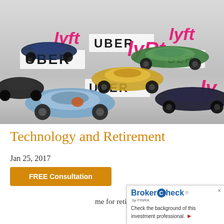[Figure (photo): Photograph of toy cars (Hot Wheels style) arranged on a white surface with Lyft and Uber logos/signs visible in the background and foreground.]
Technology and Retirement
Jan 25, 2017
FREE Consultation
…me for retirees wh…
[Figure (logo): BrokerCheck by FINRA widget in bottom-right corner. Text: 'BrokerCheck by FINRA. Check the background of this investment professional.' with a red arrow.]